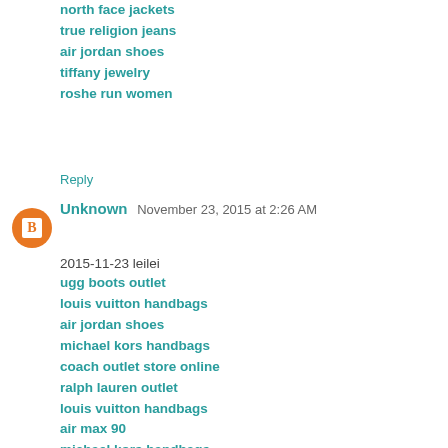north face jackets
true religion jeans
air jordan shoes
tiffany jewelry
roshe run women
Reply
Unknown  November 23, 2015 at 2:26 AM
2015-11-23 leilei
ugg boots outlet
louis vuitton handbags
air jordan shoes
michael kors handbags
coach outlet store online
ralph lauren outlet
louis vuitton handbags
air max 90
michael kors handbags
michael kors outlet
gucci handbags
adidas trainers